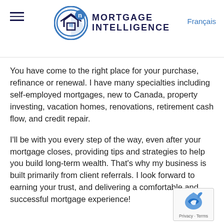Mortgage Intelligence | Français
You have come to the right place for your purchase, refinance or renewal. I have many specialties including self-employed mortgages, new to Canada, property investing, vacation homes, renovations, retirement cash flow, and credit repair.
I'll be with you every step of the way, even after your mortgage closes, providing tips and strategies to help you build long-term wealth. That's why my business is built primarily from client referrals. I look forward to earning your trust, and delivering a comfortable and successful mortgage experience!